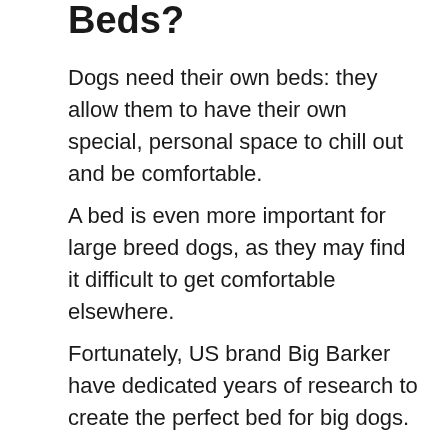Beds?
Dogs need their own beds: they allow them to have their own special, personal space to chill out and be comfortable.
A bed is even more important for large breed dogs, as they may find it difficult to get comfortable elsewhere.
Fortunately, US brand Big Barker have dedicated years of research to create the perfect bed for big dogs.
Let's make no mistake, what we're talking about here is an extremely high quality, hand crafted and durable dog bed. The quality of the mattress foam alone is